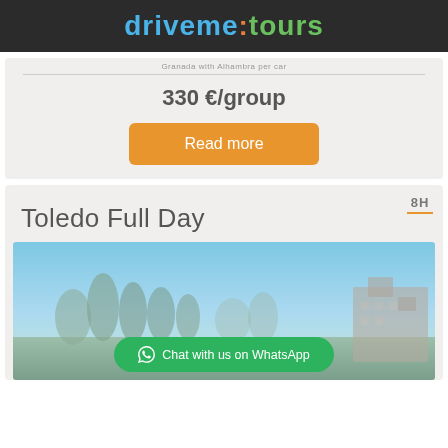driveme:tours
330 €/group
Read more
8H
Toledo Full Day
[Figure (photo): Outdoor photo of Toledo cityscape with trees and stone architecture under a blue sky]
Chat with us on WhatsApp